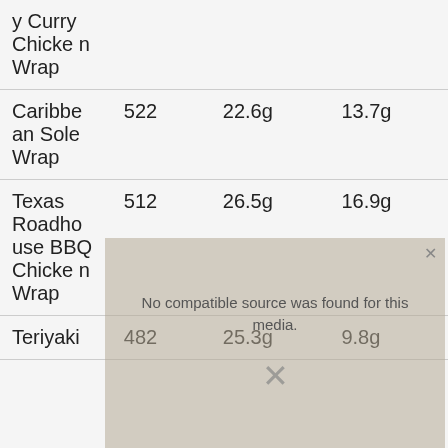| Item | Calories | Protein | Fat |
| --- | --- | --- | --- |
| y Curry Chicken Wrap |  |  |  |
| Caribbean Sole Wrap | 522 | 22.6g | 13.7g |
| Texas Roadhouse BBQ Chicken Wrap | 512 | 26.5g | 16.9g |
| Teriyaki | 482 | 25.3g | 9.8g |